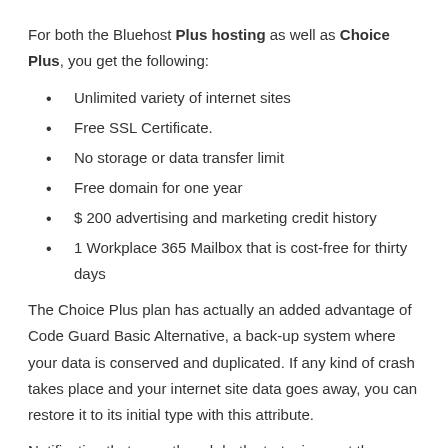For both the Bluehost Plus hosting as well as Choice Plus, you get the following:
Unlimited variety of internet sites
Free SSL Certificate.
No storage or data transfer limit
Free domain for one year
$ 200 advertising and marketing credit history
1 Workplace 365 Mailbox that is cost-free for thirty days
The Choice Plus plan has actually an added advantage of Code Guard Basic Alternative, a back-up system where your data is conserved and duplicated. If any kind of crash takes place and your internet site data goes away, you can restore it to its initial type with this attribute.
Notification that even though both strategies cost the same, the Choice Plan then defaults to $14.99 monthly, routine cost, after the